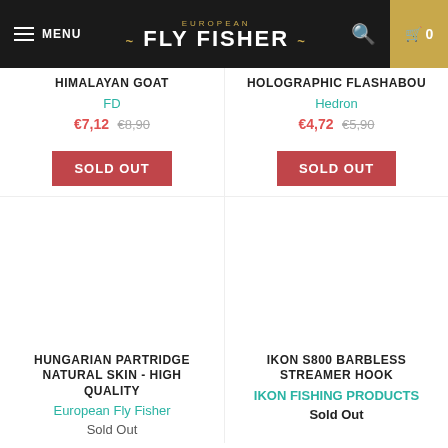MENU | EUROPEAN FLY FISHER | 0
HIMALAYAN GOAT
FD
€7,12 €8,90
SOLD OUT
HOLOGRAPHIC FLASHABOU
Hedron
€4,72 €5,90
SOLD OUT
HUNGARIAN PARTRIDGE NATURAL SKIN - HIGH QUALITY
European Fly Fisher
Sold Out
IKON S800 BARBLESS STREAMER HOOK
IKON FISHING PRODUCTS
Sold Out